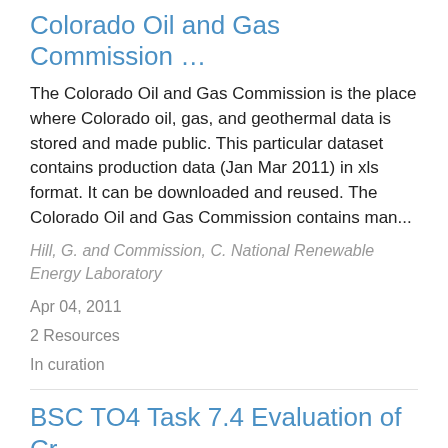Colorado Oil and Gas Commission …
The Colorado Oil and Gas Commission is the place where Colorado oil, gas, and geothermal data is stored and made public. This particular dataset contains production data (Jan Mar 2011) in xls format. It can be downloaded and reused. The Colorado Oil and Gas Commission contains man...
Hill, G. and Commission, C. National Renewable Energy Laboratory
Apr 04, 2011
2 Resources
In curation
BSC TO4 Task 7.4 Evaluation of Cr…
HOBO data available for temperature and relative humidity measurements pre and post-retrofit Data available at Y:\5500\5500 BLDGAMER\BAFDR\FY2015Data\BSC ### DESIGN House Design + Description + House Count: 8 + Last...